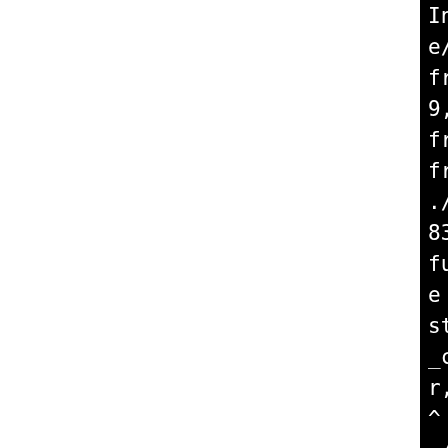[Figure (screenshot): Terminal/compiler output on black background showing compiler warnings about always_inline functions that might not be inlined, with file paths and line numbers partially visible. Left portion of page is white.]
In file included from ./i
e/ipath_intf.h:46:0,
from ./include/ipath_user
9,
from psm_user.h:45,
from psm_diags.c:34:
./include/linux-i386/sysde
83:28: warning: always_in
function might not be inli
e [-Wattributes]
static __inline__ uint32_t
_cmpxchg(volatile uint32_t
r,
^
./include/linux-i386/sysde
78:24: warning: always_in
function might not be inli
e [-Wattributes]
static __inline__ void ips
c_reads()
^
./include/linux-i386/sysde
73:24: warning: always_in
function might not be inli